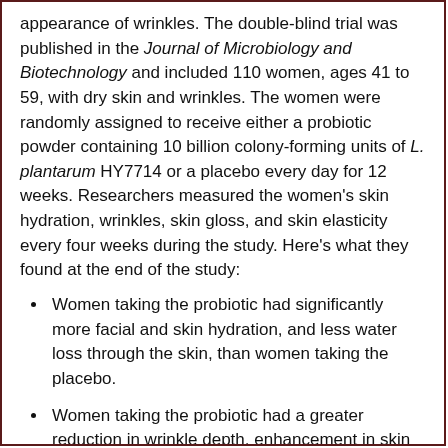appearance of wrinkles. The double-blind trial was published in the Journal of Microbiology and Biotechnology and included 110 women, ages 41 to 59, with dry skin and wrinkles. The women were randomly assigned to receive either a probiotic powder containing 10 billion colony-forming units of L. plantarum HY7714 or a placebo every day for 12 weeks. Researchers measured the women's skin hydration, wrinkles, skin gloss, and skin elasticity every four weeks during the study. Here's what they found at the end of the study:
Women taking the probiotic had significantly more facial and skin hydration, and less water loss through the skin, than women taking the placebo.
Women taking the probiotic had a greater reduction in wrinkle depth, enhancement in skin gloss, and improvement in skin elasticity than women taking the placebo.